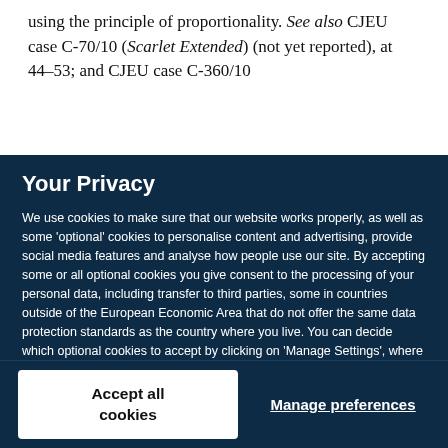using the principle of proportionality. See also CJEU case C-70/10 (Scarlet Extended) (not yet reported), at 44–53; and CJEU case C-360/10
Your Privacy
We use cookies to make sure that our website works properly, as well as some 'optional' cookies to personalise content and advertising, provide social media features and analyse how people use our site. By accepting some or all optional cookies you give consent to the processing of your personal data, including transfer to third parties, some in countries outside of the European Economic Area that do not offer the same data protection standards as the country where you live. You can decide which optional cookies to accept by clicking on 'Manage Settings', where you can also find more information about how your personal data is processed. Further information can be found in our privacy policy.
Accept all cookies
Manage preferences